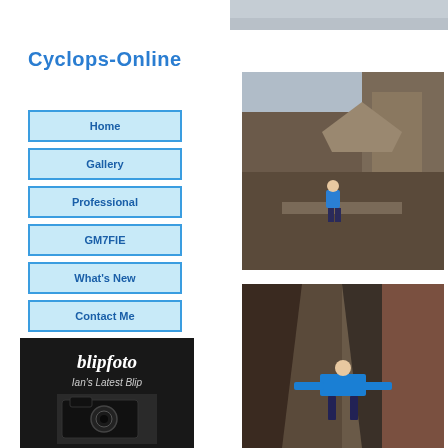[Figure (photo): Partial top photograph strip - appears to be a light-colored surface]
Cyclops-Online
Home
Gallery
Professional
GM7FIE
What's New
Contact Me
[Figure (photo): blipfoto logo and Ian's Latest Blip section with camera image on dark background]
[Figure (photo): Person in blue jacket standing on rocky cliff face]
[Figure (photo): Person in blue jacket with arms spread wide in rocky crevice]